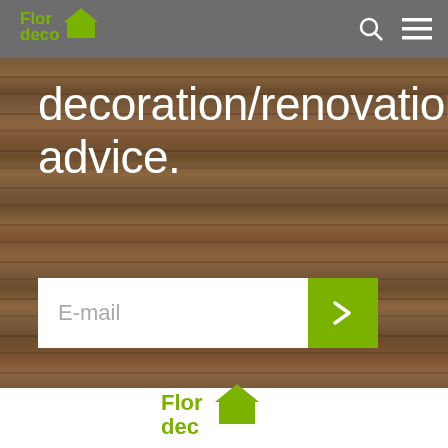[Figure (logo): Flordeco logo with green house icon in navigation bar]
decoration/renovation advice.
[Figure (screenshot): Email input field with placeholder text 'E-mail' and a green submit button with right-arrow chevron]
[Figure (logo): Flordeco logo (partial, cropped) at bottom of page on white background]